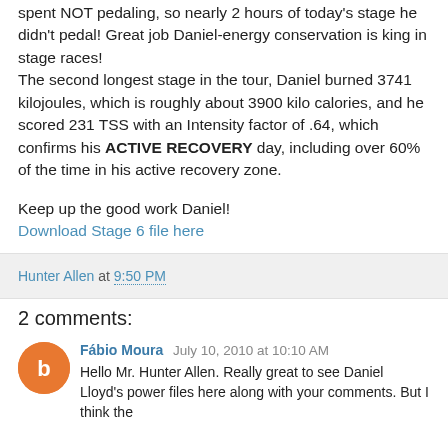spent NOT pedaling, so nearly 2 hours of today's stage he didn't pedal! Great job Daniel-energy conservation is king in stage races!
The second longest stage in the tour, Daniel burned 3741 kilojoules, which is roughly about 3900 kilo calories, and he scored 231 TSS with an Intensity factor of .64, which confirms his ACTIVE RECOVERY day, including over 60% of the time in his active recovery zone.

Keep up the good work Daniel!
Download Stage 6 file here
Hunter Allen at 9:50 PM
2 comments:
Fábio Moura July 10, 2010 at 10:10 AM
Hello Mr. Hunter Allen. Really great to see Daniel Lloyd's power files here along with your comments. But I think the files associated to the Stage 6 also didn't give from the